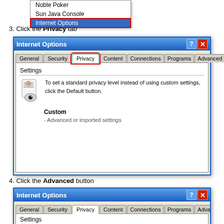[Figure (screenshot): Dropdown menu showing Noble Poker, Sun Java Console, and Internet Options (highlighted in blue with red border)]
3. Click the Privacy tab
[Figure (screenshot): Internet Options dialog with tabs: General, Security, Privacy (highlighted with red border), Content, Connections, Programs, Advanced. Settings area shows privacy icon and text: To set a standard privacy level instead of using custom settings, click the Default button. Custom - Advanced or imported settings.]
4. Click the Advanced button
[Figure (screenshot): Internet Options dialog bottom portion showing tabs with Privacy selected and Settings section visible]